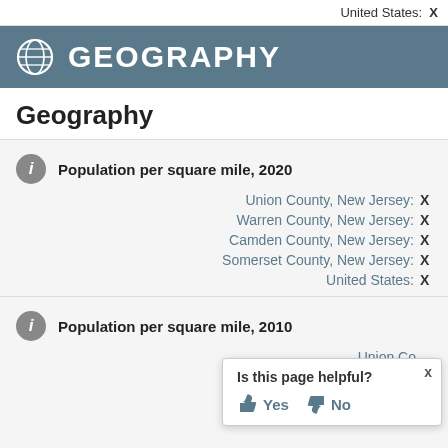United States: X
GEOGRAPHY
Geography
Population per square mile, 2020
Union County, New Jersey: X
Warren County, New Jersey: X
Camden County, New Jersey: X
Somerset County, New Jersey: X
United States: X
Population per square mile, 2010
Union Co... 
Warren Co...
Is this page helpful? Yes No